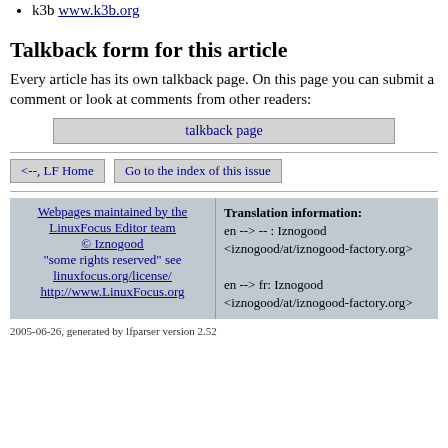k3b www.k3b.org
Talkback form for this article
Every article has its own talkback page. On this page you can submit a comment or look at comments from other readers:
talkback page
<--, LF Home    Go to the index of this issue
| Left | Right |
| --- | --- |
| Webpages maintained by the LinuxFocus Editor team © Iznogood "some rights reserved" see linuxfocus.org/license/ http://www.LinuxFocus.org | Translation information:
en --> -- : Iznogood <iznogood/at/iznogood-factory.org>
en --> fr: Iznogood <iznogood/at/iznogood-factory.org> |
2005-06-26, generated by lfparser version 2.52